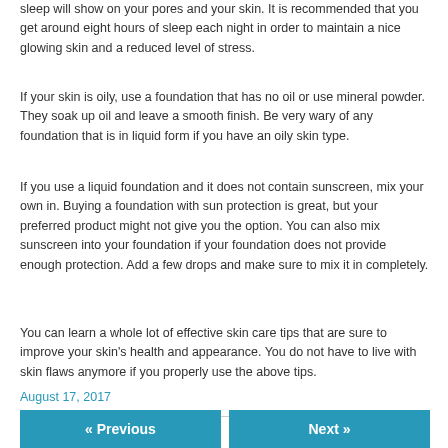sleep will show on your pores and your skin. It is recommended that you get around eight hours of sleep each night in order to maintain a nice glowing skin and a reduced level of stress.
If your skin is oily, use a foundation that has no oil or use mineral powder. They soak up oil and leave a smooth finish. Be very wary of any foundation that is in liquid form if you have an oily skin type.
If you use a liquid foundation and it does not contain sunscreen, mix your own in. Buying a foundation with sun protection is great, but your preferred product might not give you the option. You can also mix sunscreen into your foundation if your foundation does not provide enough protection. Add a few drops and make sure to mix it in completely.
You can learn a whole lot of effective skin care tips that are sure to improve your skin's health and appearance. You do not have to live with skin flaws anymore if you properly use the above tips.
August 17, 2017
« Previous
Next »